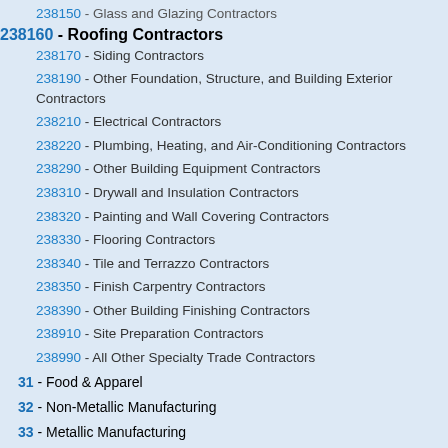238150 - Glass and Glazing Contractors
238160 - Roofing Contractors
238170 - Siding Contractors
238190 - Other Foundation, Structure, and Building Exterior Contractors
238210 - Electrical Contractors
238220 - Plumbing, Heating, and Air-Conditioning Contractors
238290 - Other Building Equipment Contractors
238310 - Drywall and Insulation Contractors
238320 - Painting and Wall Covering Contractors
238330 - Flooring Contractors
238340 - Tile and Terrazzo Contractors
238350 - Finish Carpentry Contractors
238390 - Other Building Finishing Contractors
238910 - Site Preparation Contractors
238990 - All Other Specialty Trade Contractors
31 - Food & Apparel
32 - Non-Metallic Manufacturing
33 - Metallic Manufacturing
42 - Wholesale Trade
44 - Retail Trade